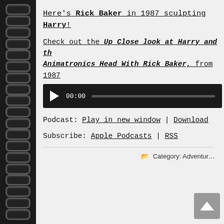Here's Rick Baker in 1987 sculpting Harry!
Check out the Up Close look at Harry and the Animatronics Head With Rick Baker, from 1987
[Figure (screenshot): Audio player bar with play button, 00:00 timestamp, and progress bar on dark background]
Podcast: Play in new window | Download
Subscribe: Apple Podcasts | RSS
Category: Adventur...